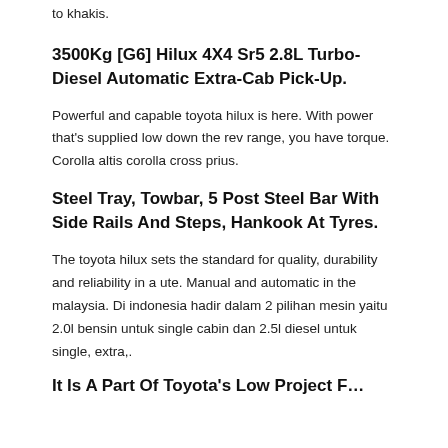to khakis.
3500Kg [G6] Hilux 4X4 Sr5 2.8L Turbo-Diesel Automatic Extra-Cab Pick-Up.
Powerful and capable toyota hilux is here. With power that’s supplied low down the rev range, you have torque. Corolla altis corolla cross prius.
Steel Tray, Towbar, 5 Post Steel Bar With Side Rails And Steps, Hankook At Tyres.
The toyota hilux sets the standard for quality, durability and reliability in a ute. Manual and automatic in the malaysia. Di indonesia hadir dalam 2 pilihan mesin yaitu 2.0l bensin untuk single cabin dan 2.5l diesel untuk single, extra,.
It Is A Part Of Toyota’s Low Project F…